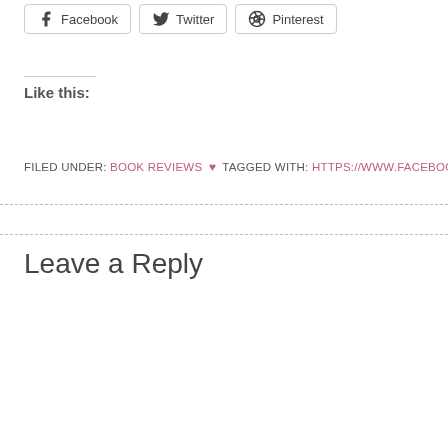[Figure (other): Share buttons for Facebook, Twitter, and Pinterest]
Like this:
FILED UNDER: BOOK REVIEWS ♥ TAGGED WITH: HTTPS://WWW.FACEBOOK.COM
Leave a Reply